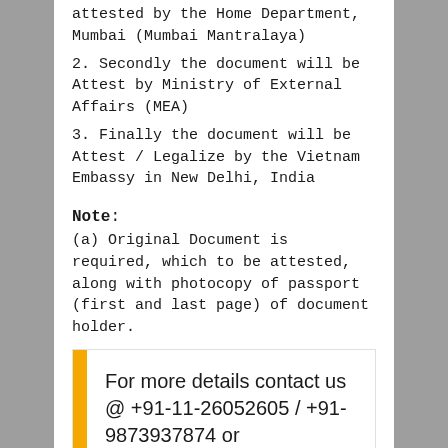attested by the Home Department, Mumbai (Mumbai Mantralaya)
2. Secondly the document will be Attest by Ministry of External Affairs (MEA)
3. Finally the document will be Attest / Legalize by the Vietnam Embassy in New Delhi, India
Note:
(a) Original Document is required, which to be attested, along with photocopy of passport (first and last page) of document holder.
For more details contact us @ +91-11-26052605 / +91-9873937874 or